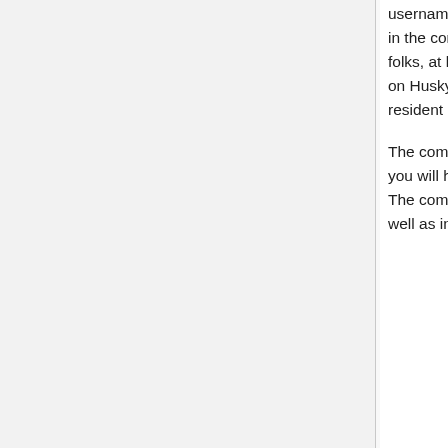username/password you use for your Huskymail account). There are mainframe terminals in the computer room (Math Science Building) or you can use a freely available (to UConn folks, at least) emulator program called HostExplorer. This program comes preinstalled on HuskyPC's and is also accessible from the EEB computer room PC's. Just ask the resident computer geek how to find the program.
The computer center does not offer dial up accounts to access UConn computers. Instead you will have to obtain an internet carrier at home (SBC, etc.) and obtain a Proxy Account. The computer center website has a lot of information on general computer concerns as well as info on Proxy Accounts. The computer center can be